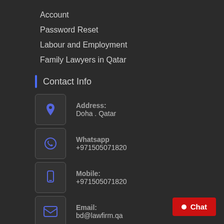Account
Password Reset
Labour and Employment
Family Lawyers in Qatar
Contact Info
Address: Doha . Qatar
Whatsapp +971505071820
Mobile: +971505071820
Email: bd@lawfirm.qa
Chat